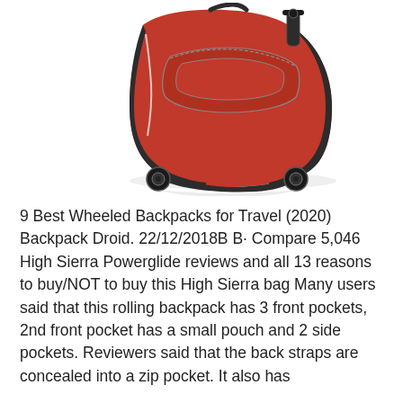[Figure (photo): A red and black wheeled rolling backpack shown from a front-angled view on a white background. The bag has multiple zippered compartments, a retractable pull handle at top right, and wheels at the bottom.]
9 Best Wheeled Backpacks for Travel (2020) Backpack Droid. 22/12/2018B B· Compare 5,046 High Sierra Powerglide reviews and all 13 reasons to buy/NOT to buy this High Sierra bag Many users said that this rolling backpack has 3 front pockets, 2nd front pocket has a small pouch and 2 side pockets. Reviewers said that the back straps are concealed into a zip pocket. It also has